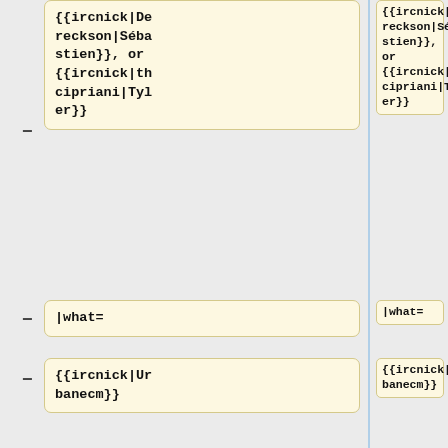{{ircnick|Dereckson|Sébastien}}, or {{ircnick|thcipriani|Tyler}}
|what=
{{ircnick|Urbanecm}}
* [config] {{gerrit|332516}} Enable subpages in NS_MAIN in eswikiversity
* [throttle]